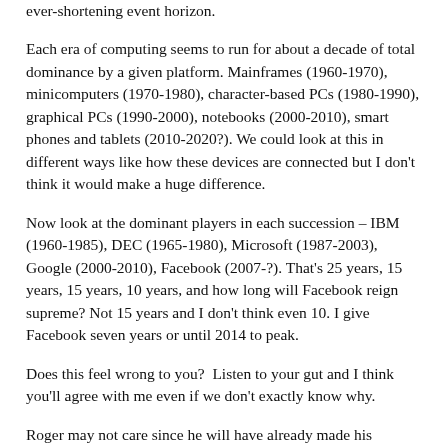ever-shortening event horizon.
Each era of computing seems to run for about a decade of total dominance by a given platform. Mainframes (1960-1970), minicomputers (1970-1980), character-based PCs (1980-1990), graphical PCs (1990-2000), notebooks (2000-2010), smart phones and tablets (2010-2020?). We could look at this in different ways like how these devices are connected but I don't think it would make a huge difference.
Now look at the dominant players in each succession – IBM (1960-1985), DEC (1965-1980), Microsoft (1987-2003), Google (2000-2010), Facebook (2007-?). That's 25 years, 15 years, 15 years, 10 years, and how long will Facebook reign supreme? Not 15 years and I don't think even 10. I give Facebook seven years or until 2014 to peak.
Does this feel wrong to you?  Listen to your gut and I think you'll agree with me even if we don't exactly know why.
Roger may not care since he will have already made his Facebook fortune and then some. But I think this foreshortening is important because it makes Facebook the